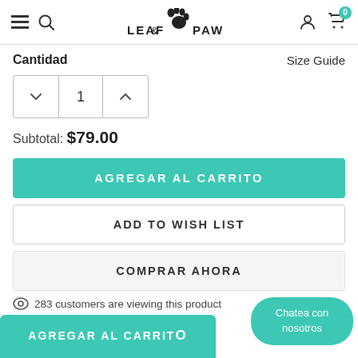LEAF & PAW — navigation header with hamburger menu, search, logo, account, and cart (0) icons
Cantidad
Size Guide
1 (quantity stepper)
Subtotal: $79.00
AGREGAR AL CARRITO
ADD TO WISH LIST
COMPRAR AHORA
283 customers are viewing this product
Chatea con nosotros
AGREGAR AL CARRITO